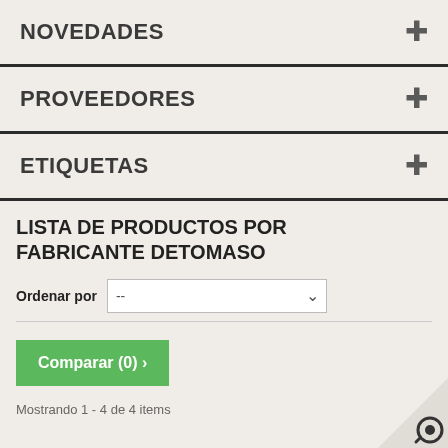NOVEDADES
PROVEEDORES
ETIQUETAS
LISTA DE PRODUCTOS POR FABRICANTE DETOMASO
Ordenar por  --
Comparar (0) >
Mostrando 1 - 4 de 4 items